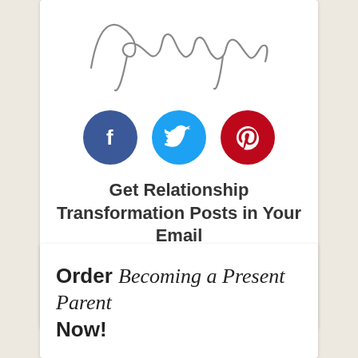[Figure (illustration): Handwritten cursive signature reading 'Maryann' in grey ink on white background]
[Figure (infographic): Three social media icon circles: Facebook (dark blue with F logo), Twitter (light blue with bird logo), Pinterest (red with P logo)]
Get Relationship Transformation Posts in Your Email
Subscribe
Order Becoming a Present Parent Now!